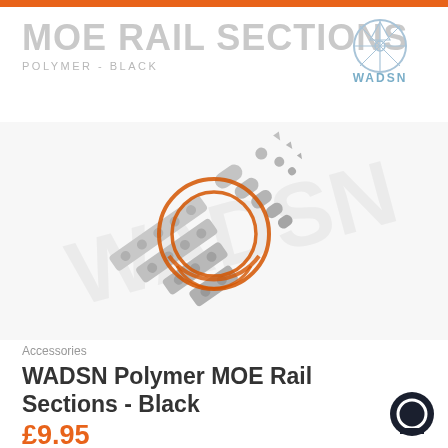MOE RAIL SECTIONS
POLYMER - BLACK
[Figure (logo): WADSN brand logo — circular geometric icon above the text WADSN in blue-grey]
[Figure (photo): Product photo of WADSN Polymer MOE Rail Sections in black/grey, showing multiple rail section pieces and hardware components arranged diagonally, with WADSN watermark and orange circular target logo overlay]
Accessories
WADSN Polymer MOE Rail Sections - Black
£9.95